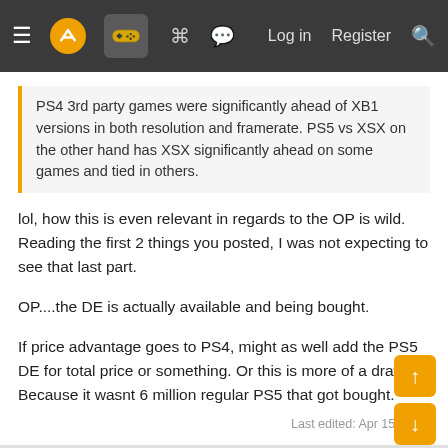≡ [logo] [gamepad] [menu] [chat] | Log in  Register [search]
PS4 3rd party games were significantly ahead of XB1 versions in both resolution and framerate. PS5 vs XSX on the other hand has XSX significantly ahead on some games and tied in others.
lol, how this is even relevant in regards to the OP is wild. Reading the first 2 things you posted, I was not expecting to see that last part.

OP....the DE is actually available and being bought.

If price advantage goes to PS4, might as well add the PS5 DE for total price or something. Or this is more of a draw. Because it wasnt 6 million regular PS5 that got bought.
Last edited: Apr 15, 2021
Tg89
Member